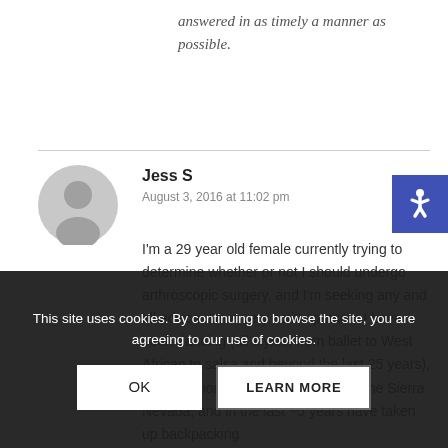answered in as timely a manner as possible.
Jess S
August 3, 2016 at 11:02 pm
I'm a 29 year old female currently trying to determine whether or not I should undergo arthroscopic surgery, and I'm seeking any and all advice. I'm a very active person: I have been dancing (all styles, from ballet to West African to salsa and beyond the last 25 years), working more than 4000 ft peaks in the Sierra Nevada, and in the last ~5 years have taken up backpacking
This site uses cookies. By continuing to browse the site, you are agreeing to our use of cookies.